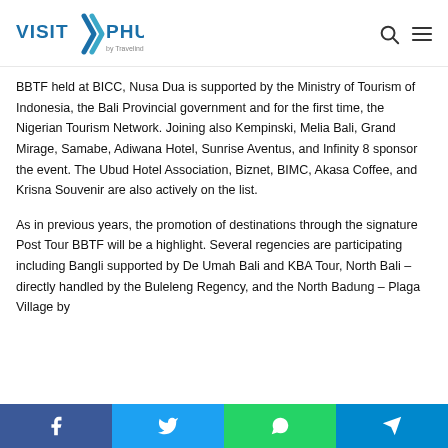VISIT PHUKET by Travelindex
BBTF held at BICC, Nusa Dua is supported by the Ministry of Tourism of Indonesia, the Bali Provincial government and for the first time, the Nigerian Tourism Network. Joining also Kempinski, Melia Bali, Grand Mirage, Samabe, Adiwana Hotel, Sunrise Aventus, and Infinity 8 sponsor the event. The Ubud Hotel Association, Biznet, BIMC, Akasa Coffee, and Krisna Souvenir are also actively on the list.
As in previous years, the promotion of destinations through the signature Post Tour BBTF will be a highlight. Several regencies are participating including Bangli supported by De Umah Bali and KBA Tour, North Bali – directly handled by the Buleleng Regency, and the North Badung – Plaga Village by
Facebook  Twitter  WhatsApp  Telegram